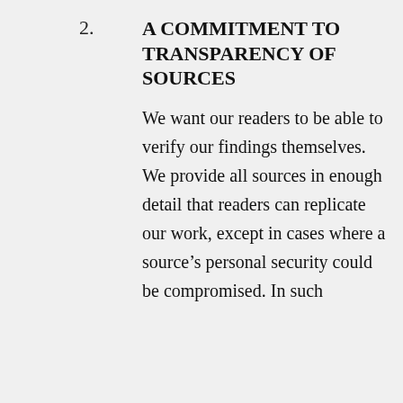2.
A COMMITMENT TO TRANSPARENCY OF SOURCES
We want our readers to be able to verify our findings themselves. We provide all sources in enough detail that readers can replicate our work, except in cases where a source’s personal security could be compromised. In such